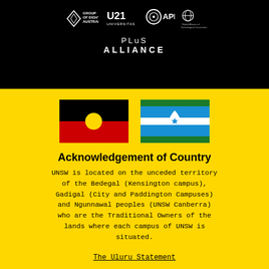[Figure (logo): Group of Eight Australia, Universitas 21, APRU, and Global Alliance of Technological Universities logos in a black header bar]
PLuS ALLIANCE
[Figure (illustration): Aboriginal flag (black top half, red bottom half, yellow circle center) and Torres Strait Islander flag (blue background, green stripes, white star and headdress) side by side on yellow background]
Acknowledgement of Country
UNSW is located on the unceded territory of the Bedegal (Kensington campus), Gadigal (City and Paddington Campuses) and Ngunnawal peoples (UNSW Canberra) who are the Traditional Owners of the lands where each campus of UNSW is situated.
The Uluru Statement